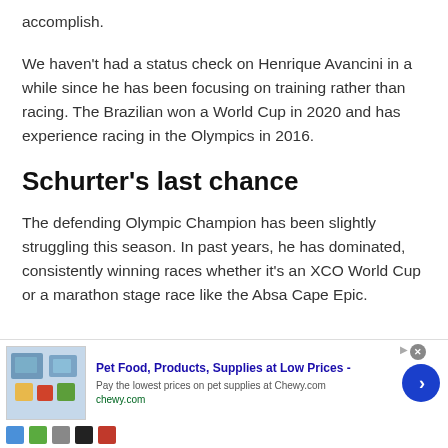accomplish.
We haven't had a status check on Henrique Avancini in a while since he has been focusing on training rather than racing. The Brazilian won a World Cup in 2020 and has experience racing in the Olympics in 2016.
Schurter's last chance
The defending Olympic Champion has been slightly struggling this season. In past years, he has dominated, consistently winning races whether it's an XCO World Cup or a marathon stage race like the Absa Cape Epic.
[Figure (infographic): Advertisement banner for Chewy.com: Pet Food, Products, Supplies at Low Prices - Pay the lowest prices on pet supplies at Chewy.com - chewy.com. Contains product images and a blue circular arrow button.]